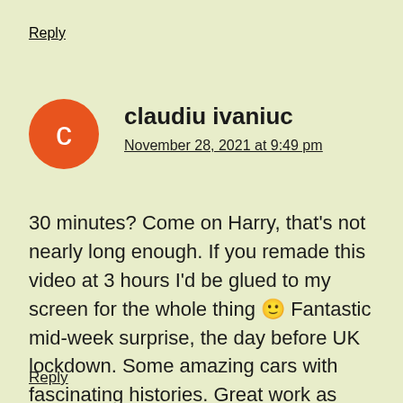Reply
claudiu ivaniuc
November 28, 2021 at 9:49 pm
30 minutes? Come on Harry, that's not nearly long enough. If you remade this video at 3 hours I'd be glued to my screen for the whole thing 😊 Fantastic mid-week surprise, the day before UK lockdown. Some amazing cars with fascinating histories. Great work as always.
Reply